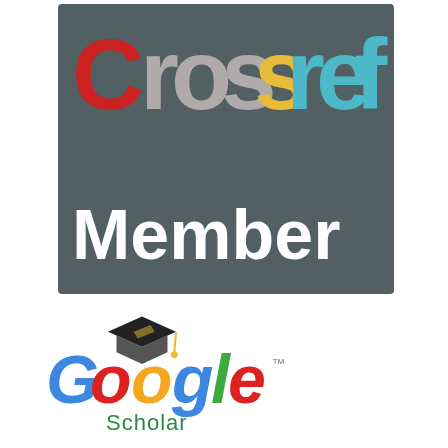[Figure (logo): Crossref Member badge logo with colorful text on dark grey/teal background]
[Figure (logo): Google Scholar logo with graduation cap icon and Google-colored text]